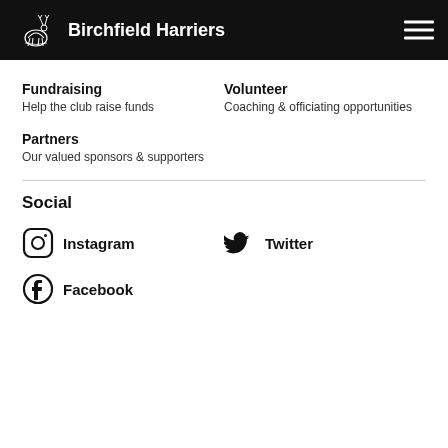Birchfield Harriers
Fundraising
Help the club raise funds
Volunteer
Coaching & officiating opportunities
Partners
Our valued sponsors & supporters
Social
Instagram
Twitter
Facebook